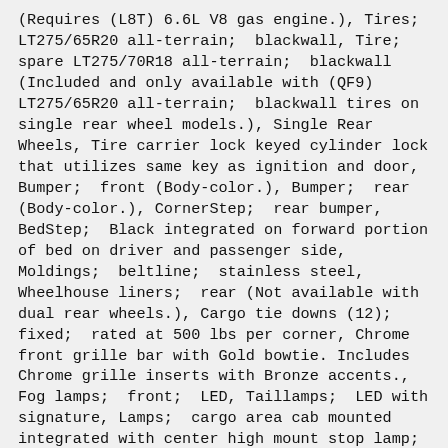(Requires (L8T) 6.6L V8 gas engine.), Tires; LT275/65R20 all-terrain; blackwall, Tire; spare LT275/70R18 all-terrain; blackwall (Included and only available with (QF9) LT275/65R20 all-terrain; blackwall tires on single rear wheel models.), Single Rear Wheels, Tire carrier lock keyed cylinder lock that utilizes same key as ignition and door, Bumper; front (Body-color.), Bumper; rear (Body-color.), CornerStep; rear bumper, BedStep; Black integrated on forward portion of bed on driver and passenger side, Moldings; beltline; stainless steel, Wheelhouse liners; rear (Not available with dual rear wheels.), Cargo tie downs (12); fixed; rated at 500 lbs per corner, Chrome front grille bar with Gold bowtie. Includes Chrome grille inserts with Bronze accents., Fog lamps; front; LED, Taillamps; LED with signature, Lamps; cargo area cab mounted integrated with center high mount stop lamp; with switch in bank on left side of steering wheel, LED Cargo Area Lighting located in pickup bed; activated with switch on center switch bank or key fob, Mirrors; outside power adjustable vertical